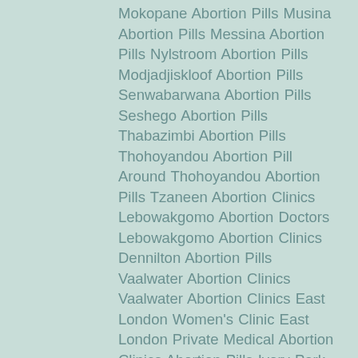Mokopane Abortion Pills Musina Abortion Pills Messina Abortion Pills Nylstroom Abortion Pills Modjadjiskloof Abortion Pills Senwabarwana Abortion Pills Seshego Abortion Pills Thabazimbi Abortion Pills Thohoyandou Abortion Pill Around Thohoyandou Abortion Pills Tzaneen Abortion Clinics Lebowakgomo Abortion Doctors Lebowakgomo Abortion Clinics Dennilton Abortion Pills Vaalwater Abortion Clinics Vaalwater Abortion Clinics East London Women's Clinic East London Private Medical Abortion Clinics Abortion Pills Ivory Park Abortion Clinic Ivory Park Abortion Clinic Ebony Park Abortion Pills Ebony Park Abortion Pills Kaalfontein Abortion Pills Rabie Ridge Abortion Clinic Rabie Ridge Abortion Clinic Kaalfontein Abortion Clinics Protea Glen Abortion Clinic Dobsonville Abortion Pills Diepsloot Abortion Clinics Diepsloot Abortion Clinic Cosmo City Abortion Pills Randburg Abortion Pills Middelburg Women's Clinic